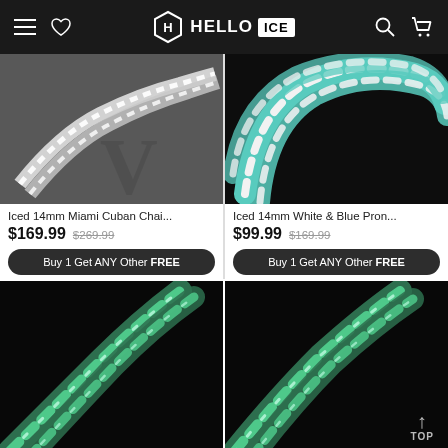Hello ICE — navigation bar with hamburger menu, heart/wishlist icon, logo, search and cart icons
[Figure (photo): Iced 14mm Miami Cuban chain on dark grey fabric background]
[Figure (photo): Iced 14mm White & Blue Prong Cuban chain on black background]
Iced 14mm Miami Cuban Chai...
$169.99  $269.99
Buy 1 Get ANY Other FREE
Iced 14mm White & Blue Pron...
$99.99  $169.99
Buy 1 Get ANY Other FREE
[Figure (photo): Green and silver iced Cuban link chain on black background]
[Figure (photo): Green and silver iced Cuban link chain on black background with TOP scroll button]